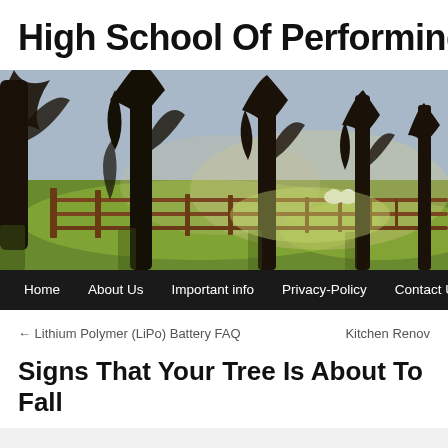High School Of Performing Ar
[Figure (photo): A row of large bare trees along a wooden fence in a green field, with bright sunlight filtering through the branches. Two white sheep are visible in the background.]
Home   About Us   Important info   Privacy-Policy   Contact Us
← Lithium Polymer (LiPo) Battery FAQ
Kitchen Renov
Signs That Your Tree Is About To Fall